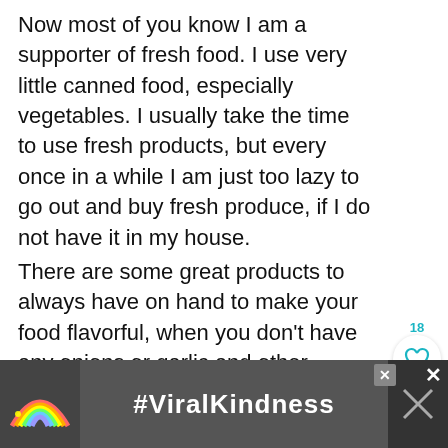Now most of you know I am a supporter of fresh food. I use very little canned food, especially vegetables. I usually take the time to use fresh products, but every once in a while I am just too lazy to go out and buy fresh produce, if I do not have it in my house.
There are some great products to always have on hand to make your food flavorful, when you don't have any onions or garlic and other produce to flavor your food. OR maybe you have a houseful of hungry kids and don't have the time to spend, chopping vegetables.
[Figure (screenshot): Social media UI overlay with like button (18 likes), teal search/save buttons, and coral share button on the right side]
[Figure (infographic): Advertisement banner at bottom: dark background with rainbow illustration on left, #ViralKindness text in white center, close buttons, and dark right panel]